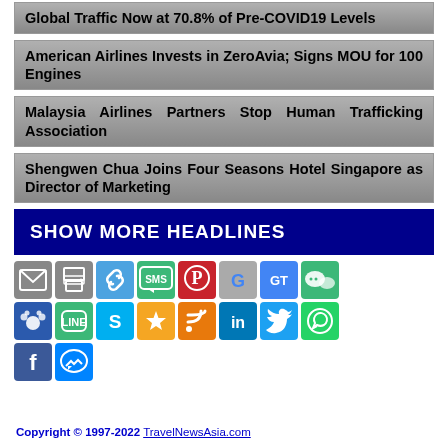Global Traffic Now at 70.8% of Pre-COVID19 Levels
American Airlines Invests in ZeroAvia; Signs MOU for 100 Engines
Malaysia Airlines Partners Stop Human Trafficking Association
Shengwen Chua Joins Four Seasons Hotel Singapore as Director of Marketing
SHOW MORE HEADLINES
[Figure (other): Social media sharing icons grid: email, print, link, SMS, Pinterest, Google, Google Translate, WeChat, Baidu, Line, Skype, Bookmark, RSS, LinkedIn, Twitter, WhatsApp, Facebook, Messenger]
Copyright © 1997-2022 TravelNewsAsia.com